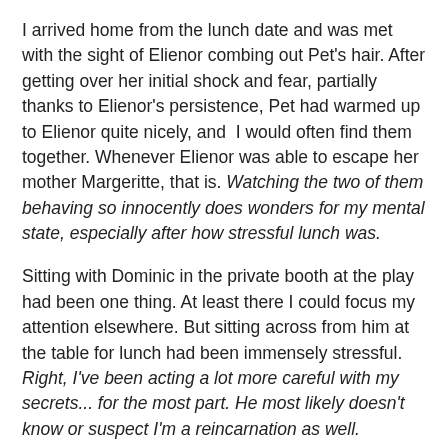I arrived home from the lunch date and was met with the sight of Elienor combing out Pet's hair. After getting over her initial shock and fear, partially thanks to Elienor's persistence, Pet had warmed up to Elienor quite nicely, and  I would often find them together. Whenever Elienor was able to escape her mother Margeritte, that is. Watching the two of them behaving so innocently does wonders for my mental state, especially after how stressful lunch was.
Sitting with Dominic in the private booth at the play had been one thing. At least there I could focus my attention elsewhere. But sitting across from him at the table for lunch had been immensely stressful. Right, I've been acting a lot more careful with my secrets... for the most part. He most likely doesn't know or suspect I'm a reincarnation as well.